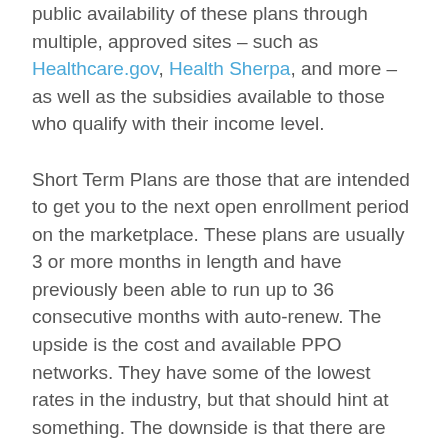public availability of these plans through multiple, approved sites – such as Healthcare.gov, Health Sherpa, and more – as well as the subsidies available to those who qualify with their income level.
Short Term Plans are those that are intended to get you to the next open enrollment period on the marketplace. These plans are usually 3 or more months in length and have previously been able to run up to 36 consecutive months with auto-renew. The upside is the cost and available PPO networks. They have some of the lowest rates in the industry, but that should hint at something. The downside is that there are limited benefits and many ways that the insurance company can either avoid paying a claim or be able to drop you altogether. A common activity with short-term plans (or STP) is a practice called